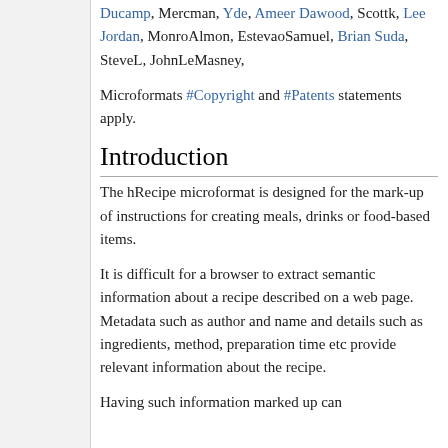Ducamp, Mercman, Yde, Ameer Dawood, Scottk, Lee Jordan, MonroAlmon, EstevaoSamuel, Brian Suda, SteveL, JohnLeMasney,
Microformats #Copyright and #Patents statements apply.
Introduction
The hRecipe microformat is designed for the mark-up of instructions for creating meals, drinks or food-based items.
It is difficult for a browser to extract semantic information about a recipe described on a web page. Metadata such as author and name and details such as ingredients, method, preparation time etc provide relevant information about the recipe.
Having such information marked up can